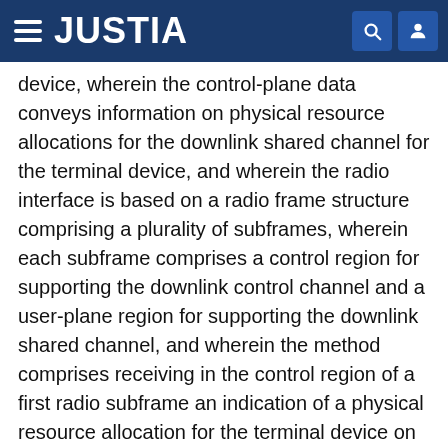JUSTIA
device, wherein the control-plane data conveys information on physical resource allocations for the downlink shared channel for the terminal device, and wherein the radio interface is based on a radio frame structure comprising a plurality of subframes, wherein each subframe comprises a control region for supporting the downlink control channel and a user-plane region for supporting the downlink shared channel, and wherein the method comprises receiving in the control region of a first radio subframe an indication of a physical resource allocation for the terminal device on the shared downlink channel in the user-plane region of a second radio subframe, and subsequently receiving user-plane data on the physical resource allocation for the terminal device on the shared downlink channel in the user-plane region of the second radio subframe.
In accordance with some embodiments the second